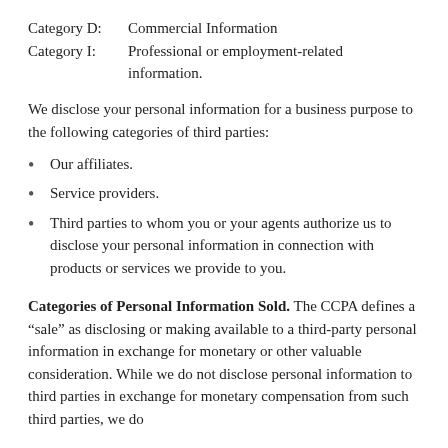Category D:    Commercial Information
Category I:    Professional or employment-related information.
We disclose your personal information for a business purpose to the following categories of third parties:
Our affiliates.
Service providers.
Third parties to whom you or your agents authorize us to disclose your personal information in connection with products or services we provide to you.
Categories of Personal Information Sold. The CCPA defines a “sale” as disclosing or making available to a third-party personal information in exchange for monetary or other valuable consideration. While we do not disclose personal information to third parties in exchange for monetary compensation from such third parties, we do